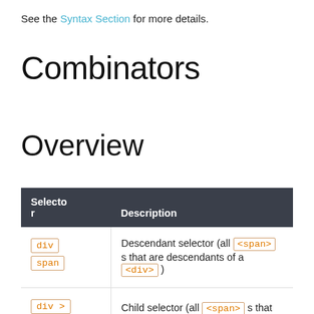See the Syntax Section for more details.
Combinators
Overview
| Selector | Description |
| --- | --- |
| div span | Descendant selector (all <span> s that are descendants of a <div> ) |
| div > span | Child selector (all <span> s that are a direct child of a <div> ) |